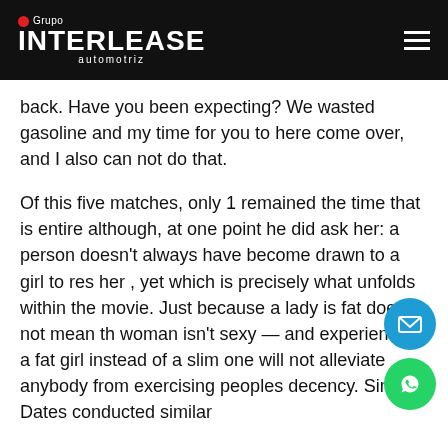[Figure (logo): Grupo Interlease Automotriz logo on black header bar with hamburger menu icon]
back. Have you been expecting? We wasted gasoline and my time for you to here come over, and I also can not do that.
Of this five matches, only 1 remained the time that is entire although, at one point he did ask her: a person doesn't always have become drawn to a girl to res her , yet which is precisely what unfolds within the movie. Just because a lady is fat does not mean th woman isn't sexy — and experiencing a fat girl instead of a slim one will not alleviate anybody from exercising peoples decency. Simple Dates conducted similar